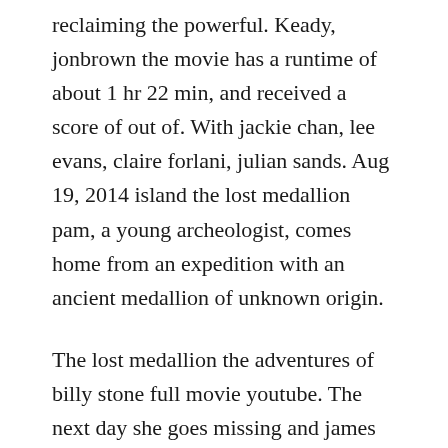reclaiming the powerful. Keady, jonbrown the movie has a runtime of about 1 hr 22 min, and received a score of out of. With jackie chan, lee evans, claire forlani, julian sands. Aug 19, 2014 island the lost medallion pam, a young archeologist, comes home from an expedition with an ancient medallion of unknown origin.
The lost medallion the adventures of billy stone full movie youtube. The next day she goes missing and james must save her. Island the lost medallion young archeologist pam comes back home from the new expedition